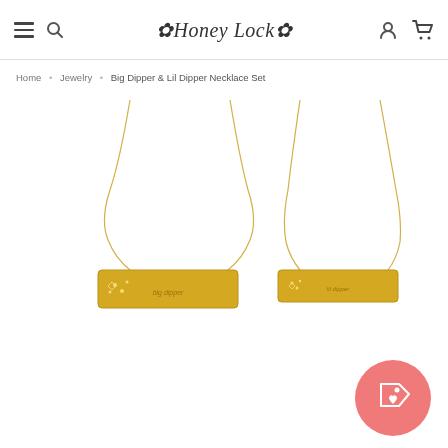Honey Lock — navigation bar with hamburger menu, search, logo, user and cart icons
Home • Jewelry • Big Dipper & Lil Dipper Necklace Set
[Figure (photo): Two gold bar necklaces on white background. Left necklace has a larger gold bar pendant engraved with 'big dipper' constellation. Right necklace has a smaller gold bar pendant engraved with 'lil dipper'. Both hang from delicate gold chains. A pink circular sale/tag badge is in the lower right corner.]